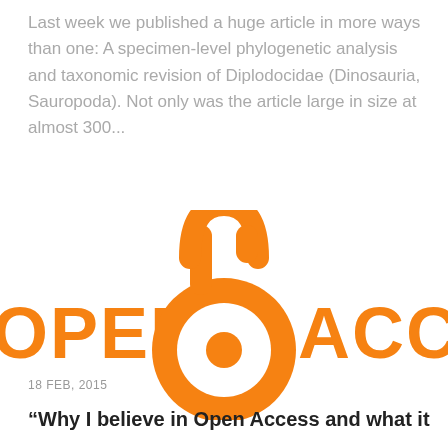Last week we published a huge article in more ways than one: A specimen-level phylogenetic analysis and taxonomic revision of Diplodocidae (Dinosauria, Sauropoda). Not only was the article large in size at almost 300...
[Figure (logo): Open Access logo in orange — an open padlock symbol with the text 'OPEN ACCESS' in bold orange letters]
18 FEB, 2015
“Why I believe in Open Access and what it